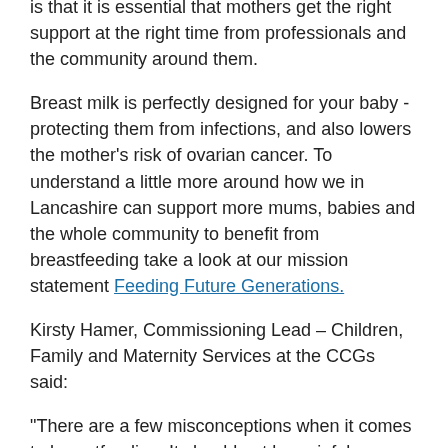is that it is essential that mothers get the right support at the right time from professionals and the community around them.
Breast milk is perfectly designed for your baby - protecting them from infections, and also lowers the mother's risk of ovarian cancer. To understand a little more around how we in Lancashire can support more mums, babies and the whole community to benefit from breastfeeding take a look at our mission statement Feeding Future Generations.
Kirsty Hamer, Commissioning Lead – Children, Family and Maternity Services at the CCGs said:
“There are a few misconceptions when it comes to breastfeeding. It should not be painful or uncomfortable, and it is impossible to over feed a breastfed baby. You'll be visited frequently by your midwife and health visitor in the early weeks to make sure your baby is growing well, and they can give advice on your feeding technique and help